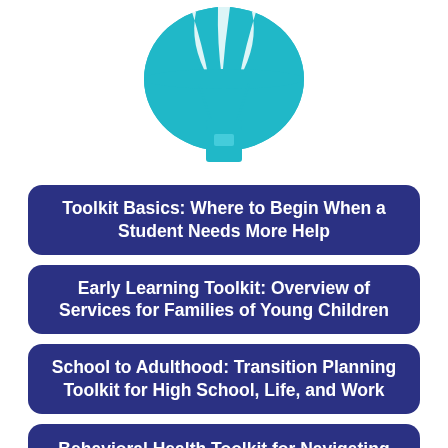[Figure (illustration): Teal/cyan parachute icon with a box/package hanging beneath it, centered at the top of the page]
Toolkit Basics: Where to Begin When a Student Needs More Help
Early Learning Toolkit: Overview of Services for Families of Young Children
School to Adulthood: Transition Planning Toolkit for High School, Life, and Work
Behavioral Health Toolkit for Navigating